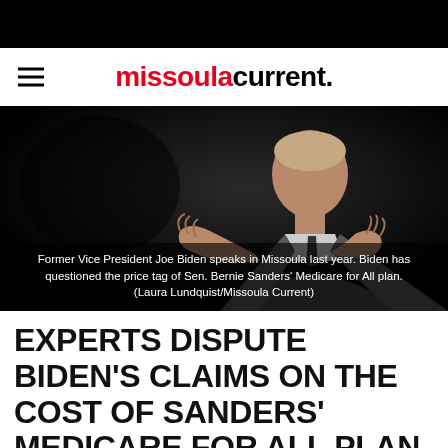missoula current.
[Figure (photo): Former Vice President Joe Biden speaking, gesturing with hands, wearing a grey suit, dark background]
Former Vice President Joe Biden speaks in Missoula last year. Biden has questioned the price tag of Sen. Bernie Sanders' Medicare for All plan. (Laura Lundquist/Missoula Current)
EXPERTS DISPUTE BIDEN'S CLAIMS ON THE COST OF SANDERS' MEDICARE FOR ALL PLAN